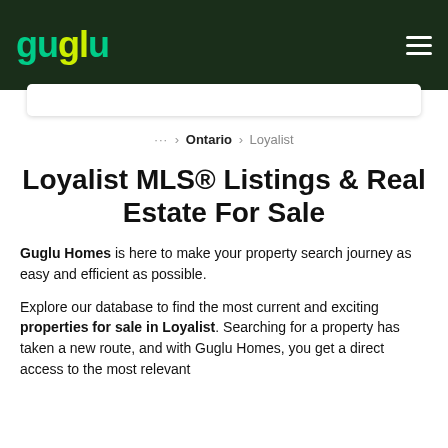guglu
... › Ontario › Loyalist
Loyalist MLS® Listings & Real Estate For Sale
Guglu Homes is here to make your property search journey as easy and efficient as possible.
Explore our database to find the most current and exciting properties for sale in Loyalist. Searching for a property has taken a new route, and with Guglu Homes, you get a direct access to the most relevant